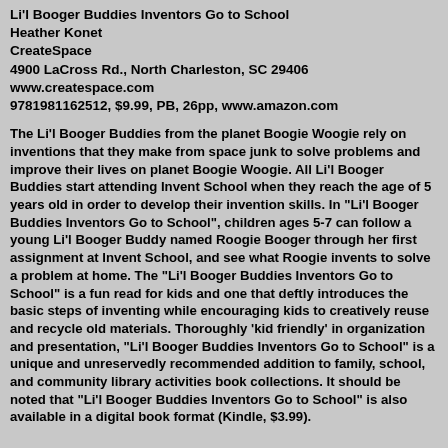Li'l Booger Buddies Inventors Go to School
Heather Konet
CreateSpace
4900 LaCross Rd., North Charleston, SC 29406
www.createspace.com
9781981162512, $9.99, PB, 26pp, www.amazon.com
The Li'l Booger Buddies from the planet Boogie Woogie rely on inventions that they make from space junk to solve problems and improve their lives on planet Boogie Woogie. All Li'l Booger Buddies start attending Invent School when they reach the age of 5 years old in order to develop their invention skills. In "Li'l Booger Buddies Inventors Go to School", children ages 5-7 can follow a young Li'l Booger Buddy named Roogie Booger through her first assignment at Invent School, and see what Roogie invents to solve a problem at home. The "Li'l Booger Buddies Inventors Go to School" is a fun read for kids and one that deftly introduces the basic steps of inventing while encouraging kids to creatively reuse and recycle old materials. Thoroughly 'kid friendly' in organization and presentation, "Li'l Booger Buddies Inventors Go to School" is a unique and unreservedly recommended addition to family, school, and community library activities book collections. It should be noted that "Li'l Booger Buddies Inventors Go to School" is also available in a digital book format (Kindle, $3.99).